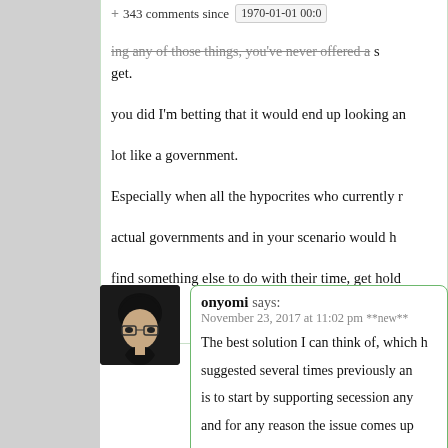+ 343 comments since [1970-01-01 00:0] ...ing any of those things, you've never offered a s get. you did I'm betting that it would end up looking an lot like a government. Especially when all the hypocrites who currently r actual governments and in your scenario would h find something else to do with their time, get hold
Hide ↑
[Figure (photo): Avatar image of user onyomi: a person with black hair and glasses against dark background]
onyomi says:
November 23, 2017 at 11:02 pm **new**

The best solution I can think of, which h suggested several times previously an is to start by supporting secession any and for any reason the issue comes up

A probably better, if less personally "ch